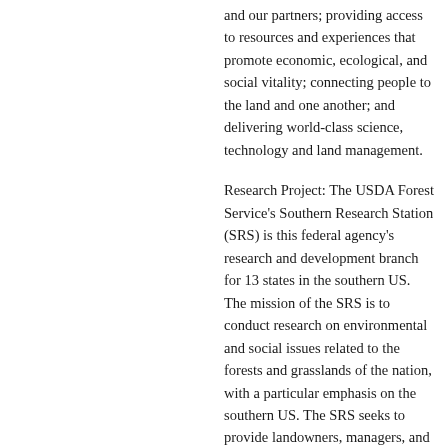and our partners; providing access to resources and experiences that promote economic, ecological, and social vitality; connecting people to the land and one another; and delivering world-class science, technology and land management.
Research Project: The USDA Forest Service's Southern Research Station (SRS) is this federal agency's research and development branch for 13 states in the southern US. The mission of the SRS is to conduct research on environmental and social issues related to the forests and grasslands of the nation, with a particular emphasis on the southern US. The SRS seeks to provide landowners, managers, and policy makers with the knowledge and tools they need to sustainably